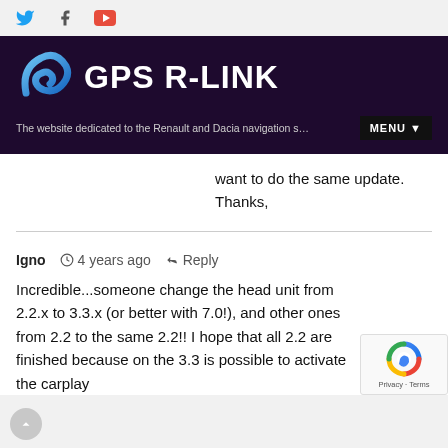GPS R-LINK — The website dedicated to the Renault and Dacia navigation s… MENU
want to do the same update.
Thanks,
Igno  ⏱ 4 years ago  ↩ Reply
Incredible...someone change the head unit from 2.2.x to 3.3.x (or better with 7.0!), and other ones from 2.2 to the same 2.2!! I hope that all 2.2 are finished because on the 3.3 is possible to activate the carplay